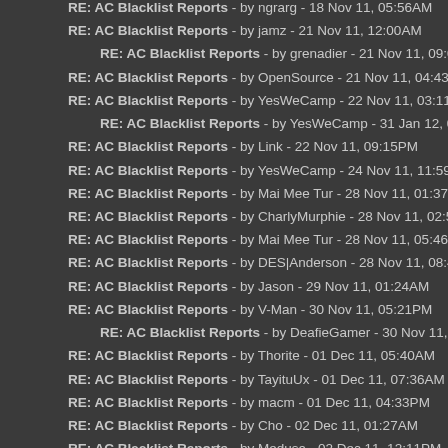RE: AC Blacklist Reports - by ngrarg - 18 Nov 11, 05:56AM
RE: AC Blacklist Reports - by jamz - 21 Nov 11, 12:00AM
RE: AC Blacklist Reports - by grenadier - 21 Nov 11, 09:06PM
RE: AC Blacklist Reports - by OpenSource - 21 Nov 11, 04:43PM
RE: AC Blacklist Reports - by YesWeCamp - 22 Nov 11, 03:11PM
RE: AC Blacklist Reports - by YesWeCamp - 31 Jan 12, 03:01AM
RE: AC Blacklist Reports - by Link - 22 Nov 11, 09:15PM
RE: AC Blacklist Reports - by YesWeCamp - 24 Nov 11, 11:59PM
RE: AC Blacklist Reports - by Mai Mee Tur - 28 Nov 11, 01:37AM
RE: AC Blacklist Reports - by CharlyMurphie - 28 Nov 11, 02:51AM
RE: AC Blacklist Reports - by Mai Mee Tur - 28 Nov 11, 05:46AM
RE: AC Blacklist Reports - by DES|Anderson - 28 Nov 11, 08:47AM
RE: AC Blacklist Reports - by Jason - 29 Nov 11, 01:24AM
RE: AC Blacklist Reports - by V-Man - 30 Nov 11, 05:21PM
RE: AC Blacklist Reports - by DeafieGamer - 30 Nov 11, 05:31PM
RE: AC Blacklist Reports - by Thorite - 01 Dec 11, 05:40AM
RE: AC Blacklist Reports - by TayituUx - 01 Dec 11, 07:36AM
RE: AC Blacklist Reports - by macm - 01 Dec 11, 04:33PM
RE: AC Blacklist Reports - by Cho - 02 Dec 11, 01:27AM
RE: AC Blacklist Reports - by Medusa - 02 Dec 11, 12:11PM
RE: AC Blacklist Reports - by SovietAk47 - 03 Dec 11, 11:00PM
RE: AC Blacklist Reports - by Vanquish - 04 Dec 11, 11:39AM
RE: AC Blacklist Reports - by *Champion - 04 Dec 11, 12:16PM
RE: AC Blacklist Reports - by *Champion - 04 Dec 11, 01:36PM
RE: AC Blacklist Reports - by Mr.OpTic - 04 Dec 11, 10:44PM